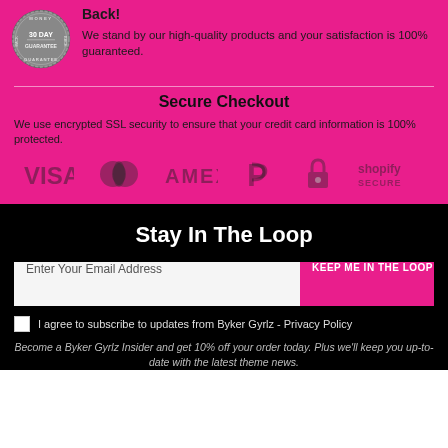[Figure (illustration): 30 Day Guarantee badge/seal - circular grey stamp graphic]
Back!
We stand by our high-quality products and your satisfaction is 100% guaranteed.
Secure Checkout
We use encrypted SSL security to ensure that your credit card information is 100% protected.
[Figure (logo): Payment icons: VISA, Mastercard, AMEX, PayPal, lock icon, Shopify Secure]
Stay In The Loop
Enter Your Email Address | KEEP ME IN THE LOOP
I agree to subscribe to updates from Byker Gyrlz - Privacy Policy
Become a Byker Gyrlz Insider and get 10% off your order today. Plus we'll keep you up-to-date with the latest theme news.